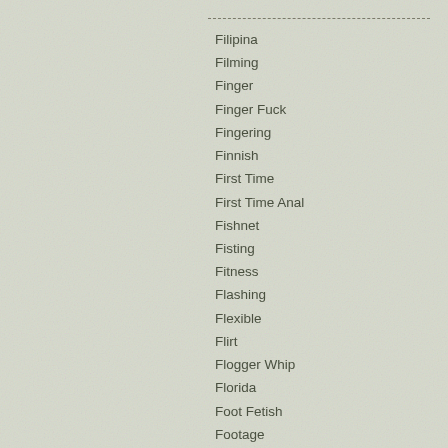Filipina
Filming
Finger
Finger Fuck
Fingering
Finnish
First Time
First Time Anal
Fishnet
Fisting
Fitness
Flashing
Flexible
Flirt
Flogger Whip
Florida
Foot Fetish
Footage
Footjob
Foreplay
Forest
Four Fingering